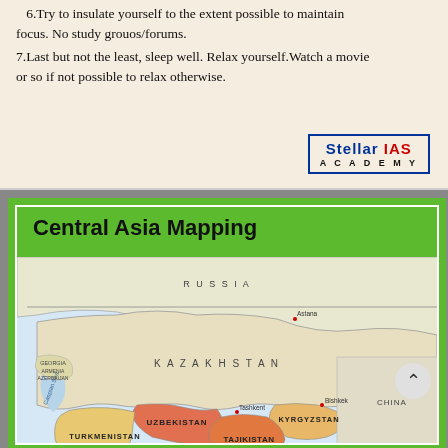6. Try to insulate yourself to the extent possible to maintain focus. No study grouos/forums.
7. Last but not the least, sleep well. Relax yourself. Watch a movie or so if not possible to relax otherwise.
[Figure (logo): Stellar IAS Academy logo with blue and red text in a bordered box]
[Figure (map): Central Asia Mapping - political map showing Russia, Kazakhstan, Uzbekistan, Turkmenistan, Tajikistan, Kyrgyzstan, and surrounding countries including Georgia, Armenia, Azerbaijan, Iran, China, Pakistan, India. Cities marked: Astana, Bishkek, Tashkent, Ashgabat, Dushanbe. Caspian Sea labeled.]
How can I help you?